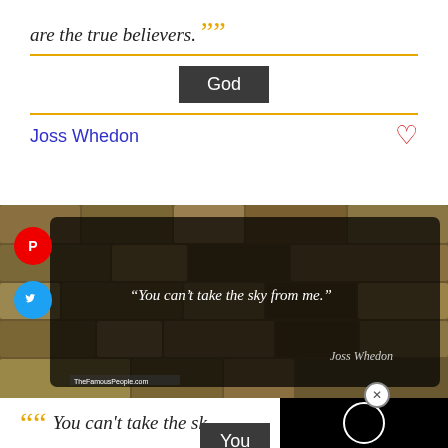are the true believers. ””
God
Joss Whedon
[Figure (photo): Quote image card with stone wall background showing the text: “You can’t take the sky from me.” attributed to Joss Whedon, with Pinterest and Twitter social share buttons on the left, and TheFamousPeople.com watermark at the bottom.]
““ You can’t take the sk
You